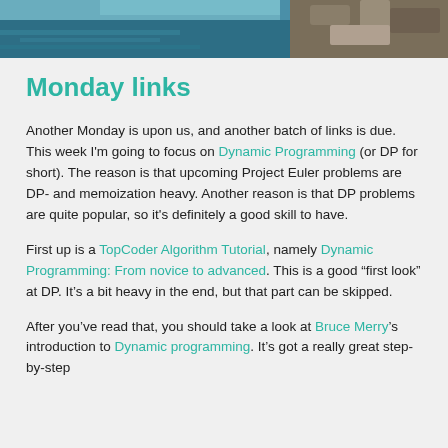[Figure (photo): Partial photo of a rocky/natural scene with teal/blue tones at the top of the page]
Monday links
Another Monday is upon us, and another batch of links is due. This week I'm going to focus on Dynamic Programming (or DP for short). The reason is that upcoming Project Euler problems are DP- and memoization heavy. Another reason is that DP problems are quite popular, so it's definitely a good skill to have.
First up is a TopCoder Algorithm Tutorial, namely Dynamic Programming: From novice to advanced. This is a good “first look” at DP. It’s a bit heavy in the end, but that part can be skipped.
After you’ve read that, you should take a look at Bruce Merry’s introduction to Dynamic programming. It’s got a really great step-by-step